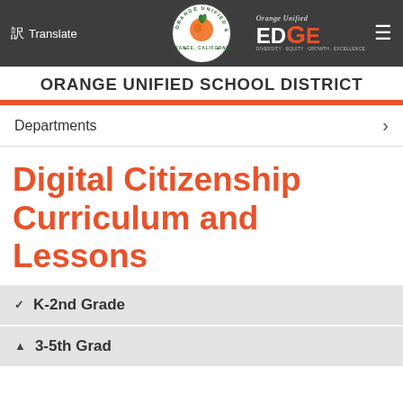[Figure (screenshot): Orange Unified School District website header with navigation bar showing translate button, district seal logo, EDGE branding, and hamburger menu]
ORANGE UNIFIED SCHOOL DISTRICT
Departments >
Digital Citizenship Curriculum and Lessons
K-2nd Grade
3-5th Grade